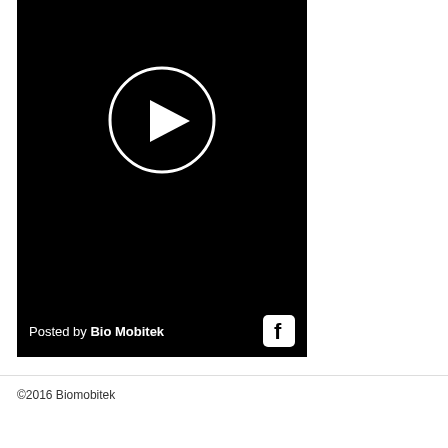[Figure (screenshot): A black video thumbnail with a white circular play button in the upper-center area. At the bottom left it reads 'Posted by Bio Mobitek' in white text, and at the bottom right is a white Facebook icon on a dark rounded square background.]
©2016 Biomobitek